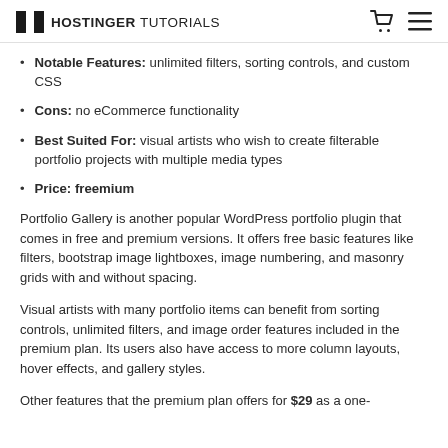HOSTINGER TUTORIALS
Notable Features: unlimited filters, sorting controls, and custom CSS
Cons: no eCommerce functionality
Best Suited For: visual artists who wish to create filterable portfolio projects with multiple media types
Price: freemium
Portfolio Gallery is another popular WordPress portfolio plugin that comes in free and premium versions. It offers free basic features like filters, bootstrap image lightboxes, image numbering, and masonry grids with and without spacing.
Visual artists with many portfolio items can benefit from sorting controls, unlimited filters, and image order features included in the premium plan. Its users also have access to more column layouts, hover effects, and gallery styles.
Other features that the premium plan offers for $29 as a one-